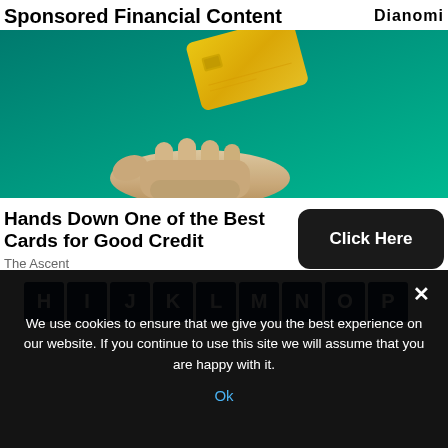Sponsored Financial Content
[Figure (photo): A hand beneath a gold credit card floating against a teal/green background]
Hands Down One of the Best Cards for Good Credit
The Ascent
[Figure (other): Alphabet navigation bar showing letters H I J K L M N O P on dark blue tiles]
We use cookies to ensure that we give you the best experience on our website. If you continue to use this site we will assume that you are happy with it.
Ok